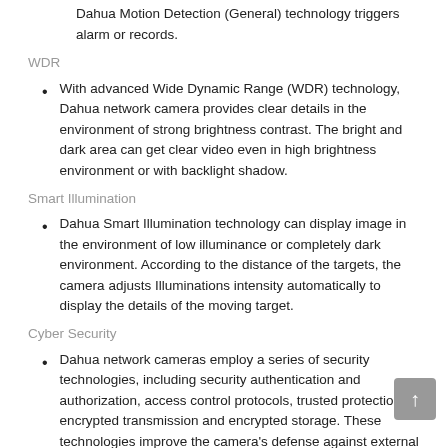Dahua Motion Detection (General) technology triggers alarm or records.
WDR
With advanced Wide Dynamic Range (WDR) technology, Dahua network camera provides clear details in the environment of strong brightness contrast. The bright and dark area can get clear video even in high brightness environment or with backlight shadow.
Smart Illumination
Dahua Smart Illumination technology can display image in the environment of low illuminance or completely dark environment. According to the distance of the targets, the camera adjusts Illuminations intensity automatically to display the details of the moving target.
Cyber Security
Dahua network cameras employ a series of security technologies, including security authentication and authorization, access control protocols, trusted protection, encrypted transmission and encrypted storage. These technologies improve the camera's defense against external cyber threats and prevent malicious programs from